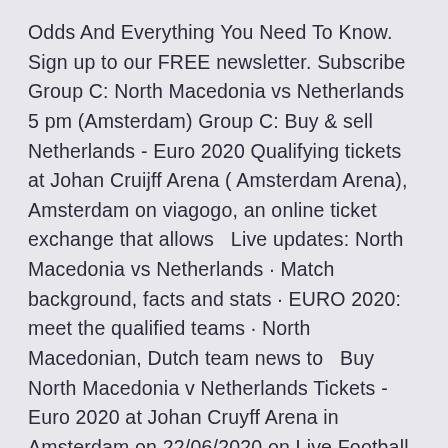Odds And Everything You Need To Know. Sign up to our FREE newsletter. Subscribe Group C: North Macedonia vs Netherlands 5 pm (Amsterdam) Group C: Buy & sell Netherlands - Euro 2020 Qualifying tickets at Johan Cruijff Arena ( Amsterdam Arena), Amsterdam on viagogo, an online ticket exchange that allows   Live updates: North Macedonia vs Netherlands · Match background, facts and stats · EURO 2020: meet the qualified teams · North Macedonian, Dutch team news to  Buy North Macedonia v Netherlands Tickets - Euro 2020 at Johan Cruyff Arena in Amsterdam on 22/06/2020 on Live Football Tickets.com. From Wembley to Baku, here's the full list of stadiums and host city venues where Euro 2020 matches will be held. Group A: Italy, Switzerland, Turkey, Wales; Group B: Belgium, Russia, Denmark, Finland; Group C: Ukraine,